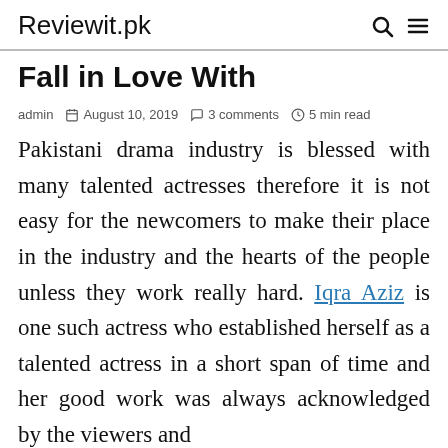Reviewit.pk
Fall in Love With
admin  August 10, 2019  3 comments  5 min read
Pakistani drama industry is blessed with many talented actresses therefore it is not easy for the newcomers to make their place in the industry and the hearts of the people unless they work really hard. Iqra Aziz is one such actress who established herself as a talented actress in a short span of time and her good work was always acknowledged by the viewers and